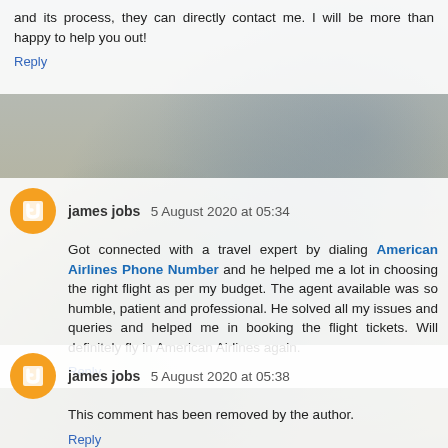and its process, they can directly contact me. I will be more than happy to help you out!
Reply
james jobs 5 August 2020 at 05:34
Got connected with a travel expert by dialing American Airlines Phone Number and he helped me a lot in choosing the right flight as per my budget. The agent available was so humble, patient and professional. He solved all my issues and queries and helped me in booking the flight tickets. Will definitely fly in American Airlines again.
Reply
james jobs 5 August 2020 at 05:38
This comment has been removed by the author.
Reply